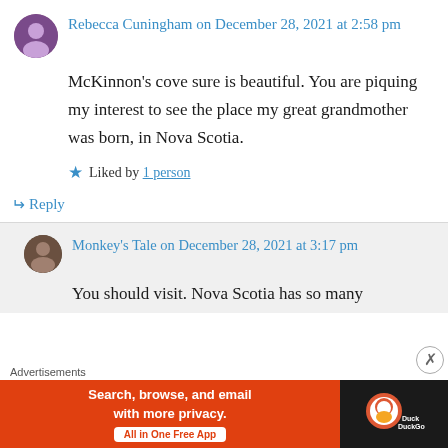Rebecca Cuningham on December 28, 2021 at 2:58 pm
McKinnon's cove sure is beautiful. You are piquing my interest to see the place my great grandmother was born, in Nova Scotia.
Liked by 1 person
Reply
Monkey's Tale on December 28, 2021 at 3:17 pm
You should visit. Nova Scotia has so many
Advertisements
[Figure (screenshot): DuckDuckGo advertisement banner: orange background with text 'Search, browse, and email with more privacy. All in One Free App' and DuckDuckGo logo on dark background]